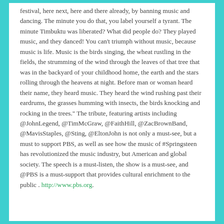festival, here next, here and there already, by banning music and dancing. The minute you do that, you label yourself a tyrant. The minute Timbuktu was liberated? What did people do? They played music, and they danced! You can't triumph without music, because music is life. Music is the birds singing, the wheat rustling in the fields, the strumming of the wind through the leaves of that tree that was in the backyard of your childhood home, the earth and the stars rolling through the heavens at night. Before man or woman heard their name, they heard music. They heard the wind rushing past their eardrums, the grasses humming with insects, the birds knocking and rocking in the trees." The tribute, featuring artists including @JohnLegend, @TimMcGraw, @FaithHill, @ZacBrownBand, @MavisStaples, @Sting, @EltonJohn is not only a must-see, but a must to support PBS, as well as see how the music of #Springsteen has revolutionized the music industry, but American and global society. The speech is a must-listen, the show is a must-see, and @PBS is a must-support that provides cultural enrichment to the public . http://www.pbs.org.